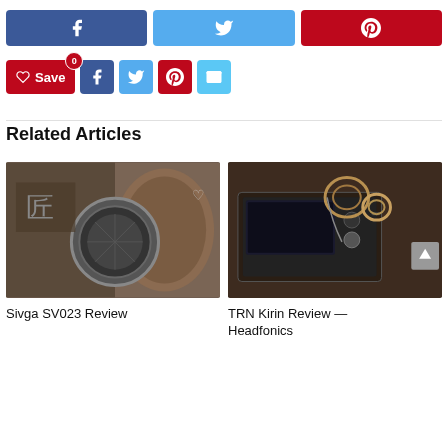[Figure (other): Social share buttons row: Facebook (blue), Twitter (light blue), Pinterest (red), each with icon]
[Figure (other): Save and share icon buttons row: Save (red with heart icon and 0 badge), Facebook, Twitter, Pinterest, Email]
Related Articles
[Figure (photo): Photo of Sivga SV023 headphones, brown leather and metal ear cup visible]
Sivga SV023 Review
[Figure (photo): Photo of TRN Kirin earphones on a dark surface with DAC/amp device]
TRN Kirin Review — Headfonics